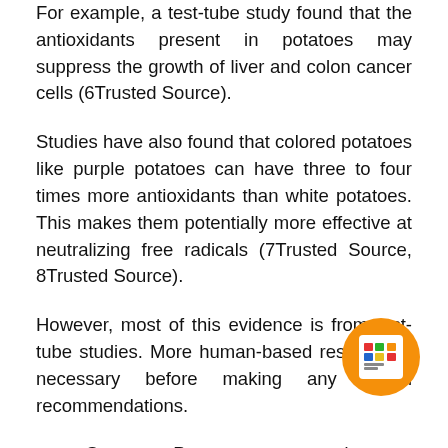For example, a test-tube study found that the antioxidants present in potatoes may suppress the growth of liver and colon cancer cells (6Trusted Source).
Studies have also found that colored potatoes like purple potatoes can have three to four times more antioxidants than white potatoes. This makes them potentially more effective at neutralizing free radicals (7Trusted Source, 8Trusted Source).
However, most of this evidence is from test-tube studies. More human-based research is necessary before making any health recommendations.
Summary Potatoes are a good source of antioxidants, which may reduce the risk of chronic diseases like heart disease, diabetes and certain
[Figure (logo): Orange circular logo with white rounded square containing a colorful grid icon]